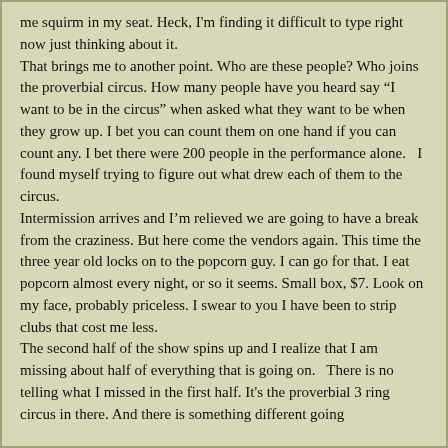me squirm in my seat.  Heck, I'm finding it difficult to type right now just thinking about it.
That brings me to another point.  Who are these people?  Who joins the proverbial circus.  How many people have you heard say “I want to be in the circus” when asked what they want to be when they grow up.  I bet you can count them on one hand if you can count any.  I bet there were 200 people in the performance alone.   I found myself trying to figure out what drew each of them to the circus.
Intermission arrives and I’m relieved we are going to have a break from the craziness.  But here come the vendors again.  This time the three year old locks on to the popcorn guy.  I can go for that.  I eat popcorn almost every night, or so it seems.  Small box, $7.  Look on my face, probably priceless.  I swear to you I have been to strip clubs that cost me less.
The second half of the show spins up and I realize that I am missing about half of everything that is going on.   There is no telling what I missed in the first half.  It’s the proverbial 3 ring circus in there.  And there is something different going